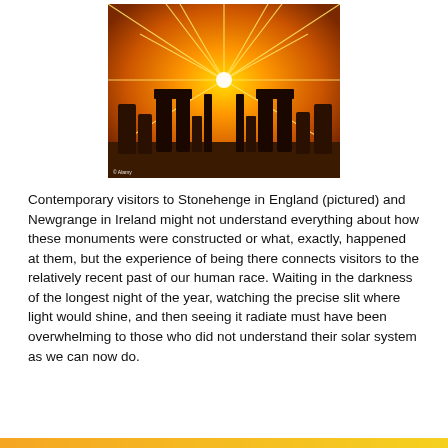[Figure (photo): Photograph of Stonehenge silhouette against an orange glowing sky with star-burst sunlight rays radiating from the center of the stone circle. Credit: © Alamy]
Contemporary visitors to Stonehenge in England (pictured) and Newgrange in Ireland might not understand everything about how these monuments were constructed or what, exactly, happened at them, but the experience of being there connects visitors to the relatively recent past of our human race. Waiting in the darkness of the longest night of the year, watching the precise slit where light would shine, and then seeing it radiate must have been overwhelming to those who did not understand their solar system as we can now do.